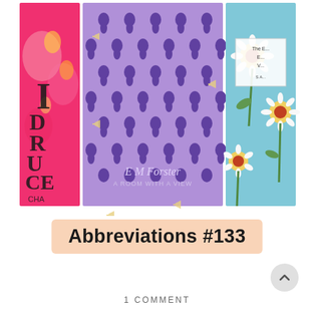[Figure (photo): Three book covers arranged side by side: left - a pink/hot pink cover with partial text visible (letters D, R, U, C, E and CHA at bottom, with floral design), center - a purple cover with a repeated pattern of dark purple tulips and small megaphone/arrow motifs, with text 'E M Forster A ROOM WITH A VIEW', right - a light blue cover with sunflowers/daisies pattern and a small inset label showing 'The E... E... V...' text]
Abbreviations #133
1 COMMENT